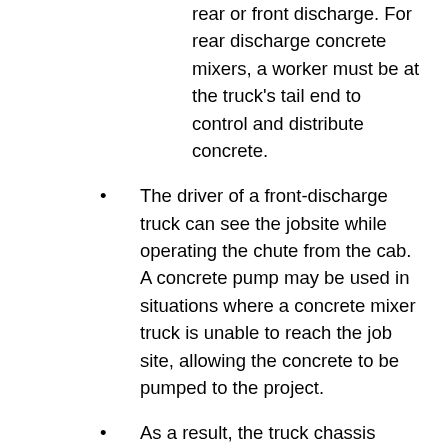rear or front discharge. For rear discharge concrete mixers, a worker must be at the truck's tail end to control and distribute concrete.
The driver of a front-discharge truck can see the jobsite while operating the chute from the cab. A concrete pump may be used in situations where a concrete mixer truck is unable to reach the job site, allowing the concrete to be pumped to the project.
As a result, the truck chassis contains numerous axles in order to meet varying load restrictions. Both on and off-road mobility is possible for the trucks.